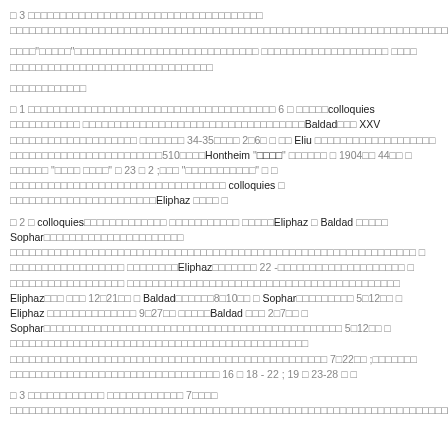□ 3 □□□□□□□□□□□□□□□□□□□□□□□□□□□□□□□□□□□□□ □□□□□□□□□□□□□□□□□□□□□□□□□□□□□□□□□□□□□□□□□□□□□□□□□□□□□□□□□□□□□□□□□□□□□□□□□□□□□□□□□□□□□□□□□□□□□□□□□□□□□□□□□□□□□□□□□□□□□□□□□□□□□□□□□□□□□□□□□□□□□□□□□□
□□□□"□□□□□"□□□□□□□□□□□□□□□□□□□□□□□□□□□□□ □□□□□□□□□□□□□□□□□□□□ □□□□ □□□□□□□□□□□□□□□□□□□□□□□□□□□□□□□□
□□□□□□□□□□□□
□ 1 □□□□□□□□□□□□□□□□□□□□□□□□□□□□□□□□□□□□□□□ 6 □ □□□□□colloquies □□□□□□□□□□□ □□□□□□□□□□□□□□□□□□□□□□□□□□□□□□□□□□□Baldad□□□ XXV □□□□□□□□□□□□□□□□□□□□ □□□□□□□ 34-35□□□□ 2□6□ □ □□ Eliu □□□□□□□□□□□□□□□□□□□ □□□□□□□□□□□□□□□□□□□□□□□□510□□□□Hontheim "□□□□" □□□□□□ □ 1904□□ 44□□ □ □□□□□□ "□□□□ □□□□" □ 23 □ 2 ;□□□ "□□□□□□□□□□□" □ □ □□□□□□□□□□□□□□□□□□□□□□□□□□□□□□□□□□ colloquies □ □□□□□□□□□□□□□□□□□□□□□□□Eliphaz □□□□ □
□ 2 □ colloquies□□□□□□□□□□□□□ □□□□□□□□□□□ □□□□□Eliphaz □ Baldad □□□□□ Sophar□□□□□□□□□□□□□□□□□□□□□□ □□□□□□□□□□□□□□□□□□□□□□□□□□□□□□□□□□□□□□□□□□□□□□□□□□□□□□□□□□□□□□□□ □ □□□□□□□□□□□□□□□□□□ □□□□□□□□Eliphaz□□□□□□□ 22 -□□□□□□□□□□□□□□□□□□□□ □ □□□□□□□□□□□□□□□□□□ □□□□□□□□□□□□□□□□□□□□□□□□□□□□□□□□□□□□□□□□□□□ Eliphaz□□□ □□□ 12□21□□ □ Baldad□□□□□□8□10□□ □ Sophar□□□□□□□□□ 5□12□□ □ Eliphaz □□□□□□□□□□□□□□ 9□27□□ □□□□□Baldad □□□ 2□7□□ □ Sophar□□□□□□□□□□□□□□□□□□□□□□□□□□□□□□□□□□□□□□□□□□□□□□□ 5□12□□ □ □□□□□□□□□□□□□□□□□□□□□□□□□□□□□□□□□□□□□□□□□□□□□□□ □□□□□□□□□□□□□□□□□□□□□□□□□□□□□□□□□□□□□□□□□□□□□□□□□□ 7□22□□ ;□□□□□□□ □□□□□□□□□□□□□□□□□□□□□□□□□□□□□□□□□ 16 □ 18 - 22 ; 19 □ 23-28 □ □
□ 3 □□□□□□□□□□□□ □□□□□□□□□□□□ 7□□□□ □□□□□□□□□□□□□□□□□□□□□□□□□□□□□□□□□□□□□□□□□□□□□□□□□□□□□□□□□□□□□□□□□□□□□□□□□□□□□□